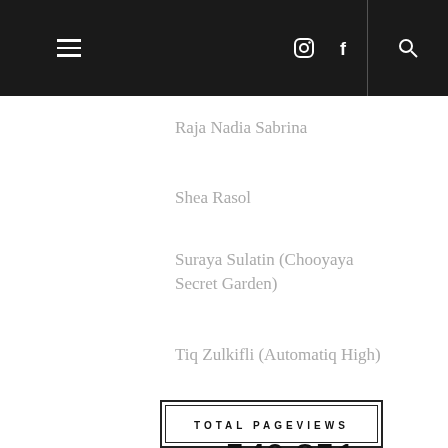Navigation bar with hamburger menu, instagram icon, facebook icon, search icon
Raja Nadia Sabrina
Shea Rasol
Suraya Sulatin (Chooyaya Secret Garden)
Tiq Zulkifli (Automatiq High)
TOTAL PAGEVIEWS
540,851